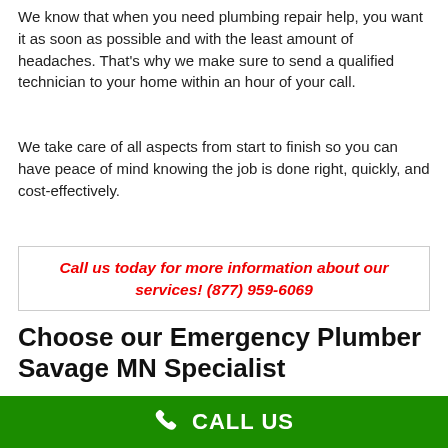We know that when you need plumbing repair help, you want it as soon as possible and with the least amount of headaches. That's why we make sure to send a qualified technician to your home within an hour of your call.
We take care of all aspects from start to finish so you can have peace of mind knowing the job is done right, quickly, and cost-effectively.
Call us today for more information about our services! (877) 959-6069
Choose our Emergency Plumber Savage MN Specialist
We are always available to help you with your plumbing needs in Savage, Minnesota. Whether it's a burst pipe or a clogged toilet, our professional plumbers can manage any type of emergency scenario.
CALL US